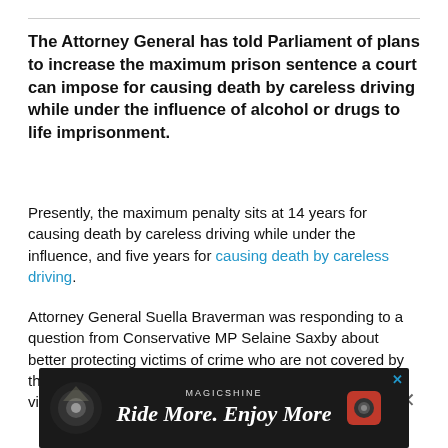The Attorney General has told Parliament of plans to increase the maximum prison sentence a court can impose for causing death by careless driving while under the influence of alcohol or drugs to life imprisonment.
Presently, the maximum penalty sits at 14 years for causing death by careless driving while under the influence, and five years for causing death by careless driving.
Attorney General Suella Braverman was responding to a question from Conservative MP Selaine Saxby about better protecting victims of crime who are not covered by the unduly lenient sentence scheme, as is the case for victims of causing death by careless driving.
[Figure (screenshot): Advertisement banner for Magicshine cycling accessories with tagline 'Ride More. Enjoy More' on dark background with image of bicycle light]